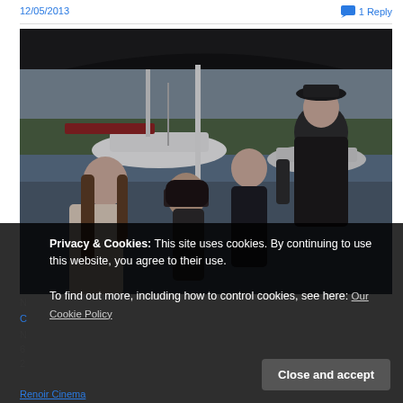12/05/2013
1 Reply
[Figure (photo): Film still showing three children and an adult woman in dark clothing holding a black umbrella, outdoors near boats on water with greenery in background]
Privacy & Cookies: This site uses cookies. By continuing to use this website, you agree to their use. To find out more, including how to control cookies, see here: Our Cookie Policy
Close and accept
Renoir Cinema